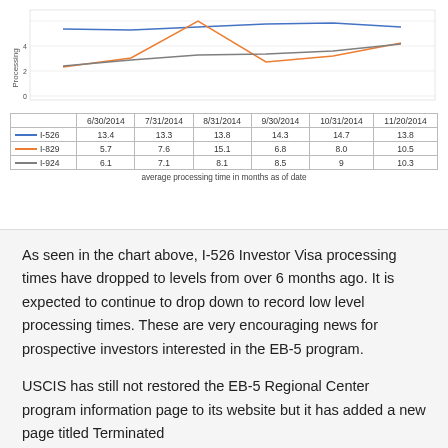[Figure (line-chart): ]
As seen in the chart above, I-526 Investor Visa processing times have dropped to levels from over 6 months ago.  It is expected to continue to drop down to record low level processing times. These are very encouraging news for prospective investors interested in the EB-5 program.
USCIS has still not restored the EB-5 Regional Center program information page to its website but it has added a new page titled Terminated